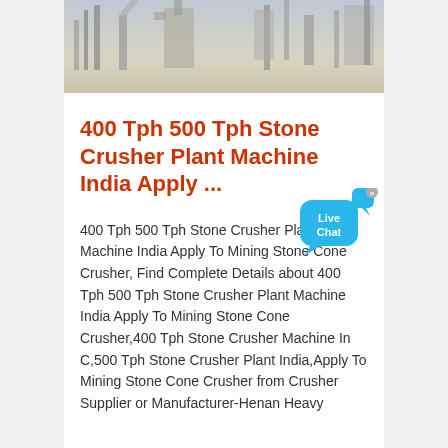[Figure (photo): Outdoor industrial stone crusher plant machinery with structures and equipment visible against a light sky and sandy ground]
400 Tph 500 Tph Stone Crusher Plant Machine India Apply ...
400 Tph 500 Tph Stone Crusher Plant Machine India Apply To Mining Stone Cone Crusher, Find Complete Details about 400 Tph 500 Tph Stone Crusher Plant Machine India Apply To Mining Stone Cone Crusher,400 Tph Stone Crusher Machine In C,500 Tph Stone Crusher Plant India,Apply To Mining Stone Cone Crusher from Crusher Supplier or Manufacturer-Henan Heavy
[Figure (illustration): Live Chat button — two overlapping speech bubbles in cyan/blue with text 'Live Chat' and an X close button]